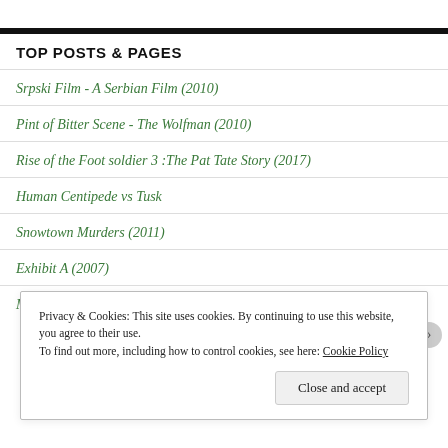TOP POSTS & PAGES
Srpski Film - A Serbian Film (2010)
Pint of Bitter Scene - The Wolfman (2010)
Rise of the Foot soldier 3 :The Pat Tate Story (2017)
Human Centipede vs Tusk
Snowtown Murders (2011)
Exhibit A (2007)
Privacy & Cookies: This site uses cookies. By continuing to use this website, you agree to their use.
To find out more, including how to control cookies, see here: Cookie Policy
Close and accept